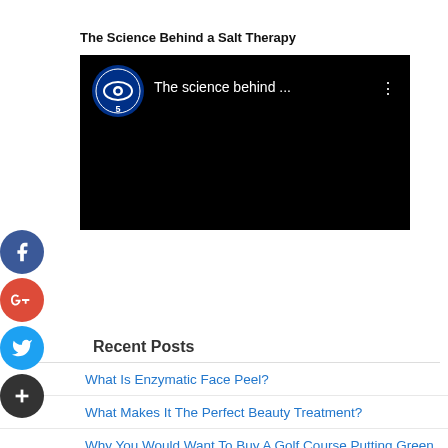The Science Behind a Salt Therapy
[Figure (screenshot): Embedded CBS5 video player showing 'The science behind ...' with black background]
Recent Posts
What Is Enzymatic Face Peel?
What Makes It The Perfect Beauty Treatment?
Why You Would Want To Buy A Golf Course Putting Green Online?